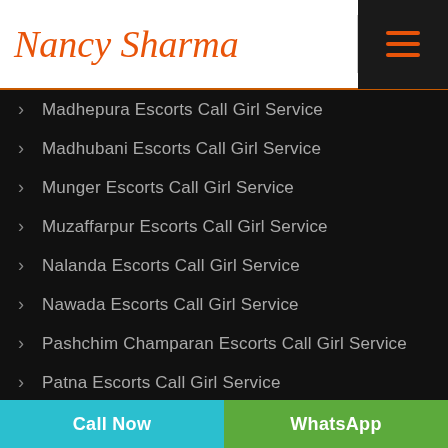[Figure (logo): Nancy Sharma logo in orange cursive script with orange underline border]
Madhepura Escorts Call Girl Service
Madhubani Escorts Call Girl Service
Munger Escorts Call Girl Service
Muzaffarpur Escorts Call Girl Service
Nalanda Escorts Call Girl Service
Nawada Escorts Call Girl Service
Pashchim Champaran Escorts Call Girl Service
Patna Escorts Call Girl Service
Call Now | WhatsApp